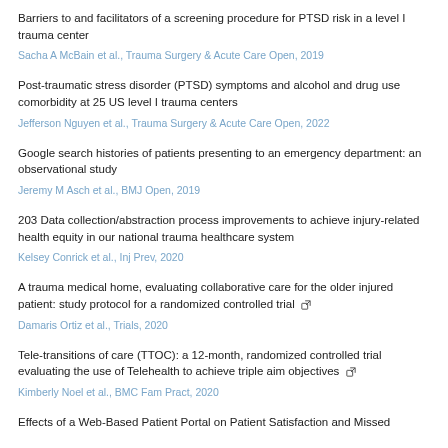Barriers to and facilitators of a screening procedure for PTSD risk in a level I trauma center
Sacha A McBain et al., Trauma Surgery & Acute Care Open, 2019
Post-traumatic stress disorder (PTSD) symptoms and alcohol and drug use comorbidity at 25 US level I trauma centers
Jefferson Nguyen et al., Trauma Surgery & Acute Care Open, 2022
Google search histories of patients presenting to an emergency department: an observational study
Jeremy M Asch et al., BMJ Open, 2019
203 Data collection/abstraction process improvements to achieve injury-related health equity in our national trauma healthcare system
Kelsey Conrick et al., Inj Prev, 2020
A trauma medical home, evaluating collaborative care for the older injured patient: study protocol for a randomized controlled trial [external link]
Damaris Ortiz et al., Trials, 2020
Tele-transitions of care (TTOC): a 12-month, randomized controlled trial evaluating the use of Telehealth to achieve triple aim objectives [external link]
Kimberly Noel et al., BMC Fam Pract, 2020
Effects of a Web-Based Patient Portal on Patient Satisfaction and Missed